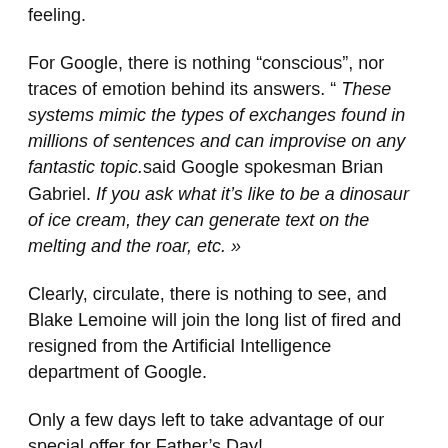feeling.
For Google, there is nothing “conscious”, nor traces of emotion behind its answers. " These systems mimic the types of exchanges found in millions of sentences and can improvise on any fantastic topic.said Google spokesman Brian Gabriel. If you ask what it’s like to be a dinosaur of ice cream, they can generate text on the melting and the roar, etc. »
Clearly, circulate, there is nothing to see, and Blake Lemoine will join the long list of fired and resigned from the Artificial Intelligence department of Google.
Only a few days left to take advantage of our special offer for Father’s Day!